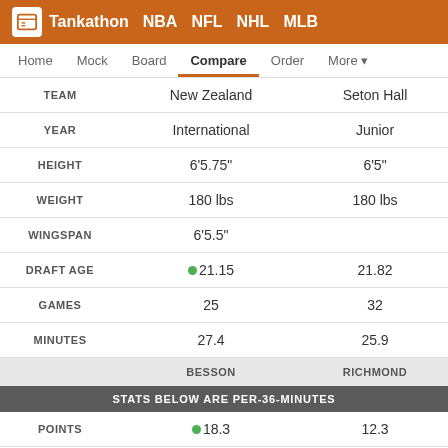Tankathon NBA NFL NHL MLB
Home | Mock | Board | Compare | Order | More
|  | BESSON | RICHMOND |
| --- | --- | --- |
| TEAM | New Zealand | Seton Hall |
| YEAR | International | Junior |
| HEIGHT | 6'5.75" | 6'5" |
| WEIGHT | 180 lbs | 180 lbs |
| WINGSPAN | 6'5.5" |  |
| DRAFT AGE | ●21.15 | 21.82 |
| GAMES | 25 | 32 |
| MINUTES | 27.4 | 25.9 |
| STATS BELOW ARE PER-36-MINUTES |  |  |
| POINTS | ●18.3 | 12.3 |
| REBOUNDS | ●5.2 | 5.0 |